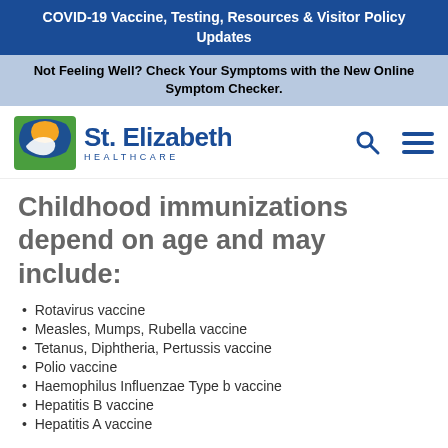COVID-19 Vaccine, Testing, Resources & Visitor Policy Updates
Not Feeling Well? Check Your Symptoms with the New Online Symptom Checker.
[Figure (logo): St. Elizabeth Healthcare logo with green and blue icon]
Childhood immunizations depend on age and may include:
Rotavirus vaccine
Measles, Mumps, Rubella vaccine
Tetanus, Diphtheria, Pertussis vaccine
Polio vaccine
Haemophilus Influenzae Type b vaccine
Hepatitis B vaccine
Hepatitis A vaccine